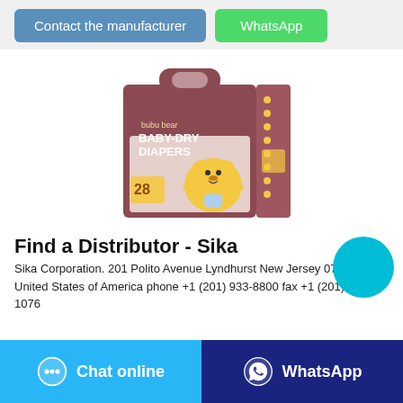[Figure (other): Two buttons: 'Contact the manufacturer' (blue) and 'WhatsApp' (green)]
[Figure (photo): bubu bear Baby-Dry Diapers product package, mauve/brown box with cartoon bear, showing 28 diapers]
Find a Distributor - Sika
Sika Corporation. 201 Polito Avenue Lyndhurst New Jersey 07071 United States of America phone +1 (201) 933-8800 fax +1 (201) 804 1076
[Figure (other): Two bottom buttons: 'Chat online' (light blue) and 'WhatsApp' (dark blue)]